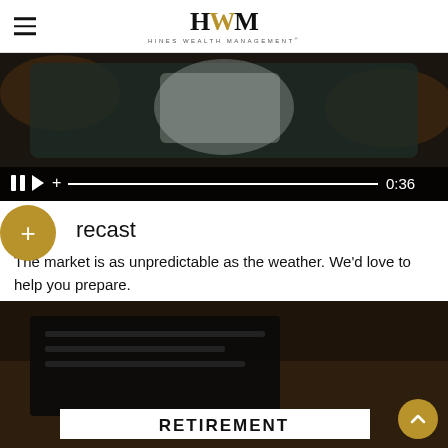HWM — HINES WEALTH MANAGEMENT
[Figure (screenshot): Video player showing hands holding a tablet, with playback controls at the bottom showing pause, play, volume icons, a progress bar, and timestamp 0:36]
recast
The market is as unpredictable as the weather. We'd love to help you prepare.
[Figure (screenshot): Video thumbnail showing a dark scene with the word RETIREMENT displayed in bold white text on a white banner at the bottom]